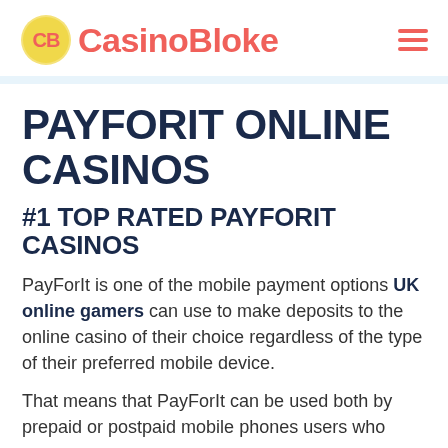CasinoBloke
PAYFORIT ONLINE CASINOS
#1 TOP RATED PAYFORIT CASINOS
PayForIt is one of the mobile payment options UK online gamers can use to make deposits to the online casino of their choice regardless of the type of their preferred mobile device.
That means that PayForIt can be used both by prepaid or postpaid mobile phones users who